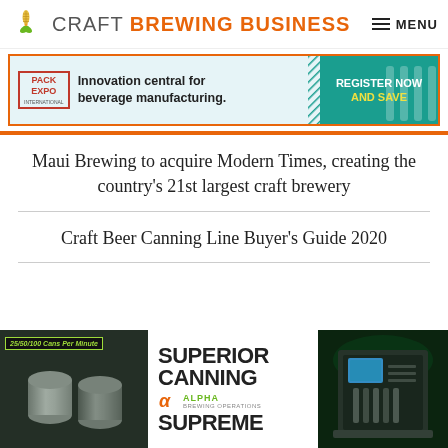CRAFT BREWING BUSINESS
[Figure (advertisement): Pack Expo International ad banner: Innovation central for beverage manufacturing. Register Now and Save.]
Maui Brewing to acquire Modern Times, creating the country's 21st largest craft brewery
Craft Beer Canning Line Buyer's Guide 2020
[Figure (advertisement): Superior Canning - Alpha Brewing Operations - Supreme. 25/50/100 Cans Per Minute.]